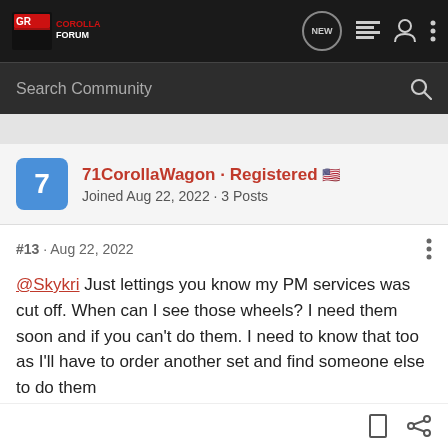GR Corolla Forum
Search Community
71CorollaWagon · Registered
Joined Aug 22, 2022 · 3 Posts
#13 · Aug 22, 2022
@Skykri Just lettings you know my PM services was cut off. When can I see those wheels? I need them soon and if you can't do them. I need to know that too as I'll have to order another set and find someone else to do them